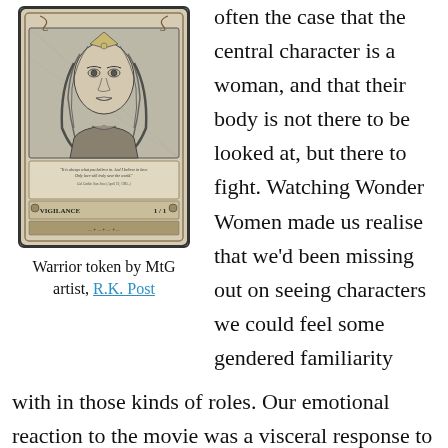[Figure (illustration): Black and white illustration of a warrior woman (Wonder Woman style) depicted as a Magic: the Gathering trading card with ornate border, titled 'Vigilance' with '1/1' in the corner and a quote below the art.]
Warrior token by MtG artist, R.K. Post
often the case that the central character is a woman, and that their body is not there to be looked at, but there to fight. Watching Wonder Women made us realise that we'd been missing out on seeing characters we could feel some gendered familiarity with in those kinds of roles. Our emotional reaction to the movie was a visceral response to its total normalisation of women's strength and ability, tinged with sadness that this felt like a novel viewing